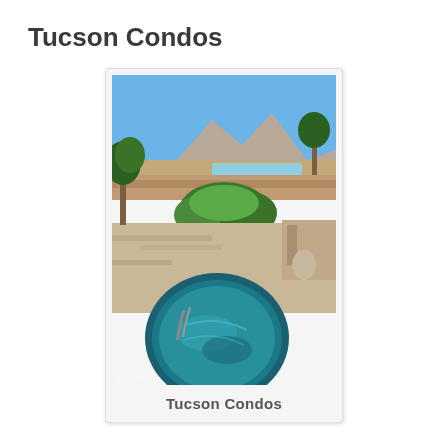Tucson Condos
[Figure (photo): Aerial/overhead view of a desert Southwest condo complex featuring a round spa/hot tub in the foreground filled with blue-green water, surrounding stone patio, lush green shrubs and bushes in the middle ground, a swimming pool visible in the background, and desert mountains with blue sky behind. Small watermark text at bottom left reads '©2011 TRAVILE'.]
Tucson Condos